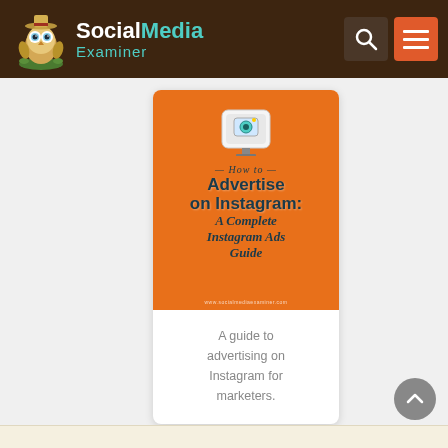[Figure (logo): Social Media Examiner logo with owl mascot character wearing explorer hat, dark brown header bar]
[Figure (illustration): Book cover for 'How to Advertise on Instagram: A Complete Instagram Ads Guide' on orange background with Instagram camera icon]
A guide to advertising on Instagram for marketers.
[Figure (other): Partial yellow-beige card at bottom of page, scroll-to-top circular button on right]